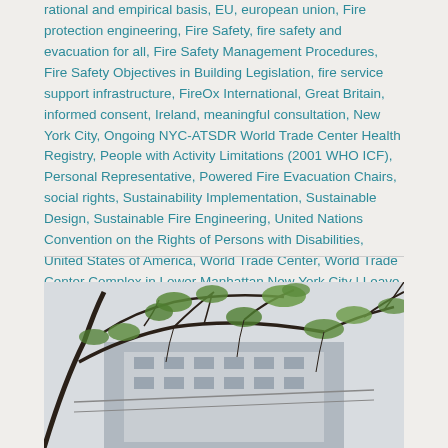rational and empirical basis, EU, european union, Fire protection engineering, Fire Safety, fire safety and evacuation for all, Fire Safety Management Procedures, Fire Safety Objectives in Building Legislation, fire service support infrastructure, FireOx International, Great Britain, informed consent, Ireland, meaningful consultation, New York City, Ongoing NYC-ATSDR World Trade Center Health Registry, People with Activity Limitations (2001 WHO ICF), Personal Representative, Powered Fire Evacuation Chairs, social rights, Sustainability Implementation, Sustainable Design, Sustainable Fire Engineering, United Nations Convention on the Rights of Persons with Disabilities, United States of America, World Trade Center, World Trade Center Complex in Lower Manhattan New York City | Leave a comment
[Figure (photo): A photograph showing a building partially obscured by tree branches with green leaves in the foreground, taken from a low angle looking up.]